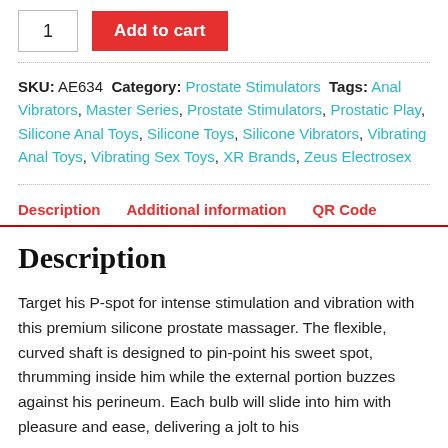1  Add to cart
SKU: AE634 Category: Prostate Stimulators Tags: Anal Vibrators, Master Series, Prostate Stimulators, Prostatic Play, Silicone Anal Toys, Silicone Toys, Silicone Vibrators, Vibrating Anal Toys, Vibrating Sex Toys, XR Brands, Zeus Electrosex
Description   Additional information   QR Code
Description
Target his P-spot for intense stimulation and vibration with this premium silicone prostate massager. The flexible, curved shaft is designed to pin-point his sweet spot, thrumming inside him while the external portion buzzes against his perineum. Each bulb will slide into him with pleasure and ease, delivering a jolt to his